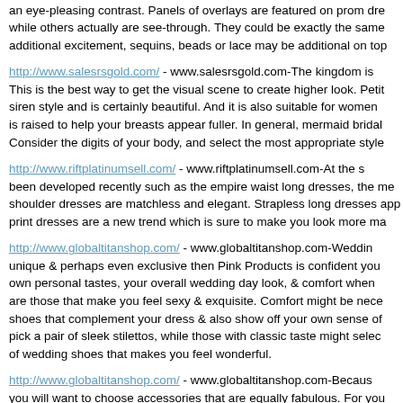an eye-pleasing contrast. Panels of overlays are featured on prom dresses while others actually are see-through. They could be exactly the same additional excitement, sequins, beads or lace may be additional on top
http://www.salesrsgold.com/ - www.salesrsgold.com-The kingdom is This is the best way to get the visual scene to create higher look. Petit siren style and is certainly beautiful. And it is also suitable for women is raised to help your breasts appear fuller. In general, mermaid bridal Consider the digits of your body, and select the most appropriate style
http://www.riftplatinumsell.com/ - www.riftplatinumsell.com-At the s been developed recently such as the empire waist long dresses, the me shoulder dresses are matchless and elegant. Strapless long dresses app print dresses are a new trend which is sure to make you look more ma
http://www.globaltitanshop.com/ - www.globaltitanshop.com-Weddin unique & perhaps even exclusive then Pink Products is confident you own personal tastes, your overall wedding day look, & comfort when are those that make you feel sexy & exquisite. Comfort might be nece shoes that complement your dress & also show off your own sense of pick a pair of sleek stilettos, while those with classic taste might selec of wedding shoes that makes you feel wonderful.
http://www.globaltitanshop.com/ - www.globaltitanshop.com-Becaus you will want to choose accessories that are equally fabulous. For you necklaces. The sparkle of Swarovksi crystals will add the drama that y is handcrafted just for you, it also allows you to make changes so that gown. Finish the look with dazzling crystal earrings and a matching b store for elegance, beauty and versatility. It is not only that elegance